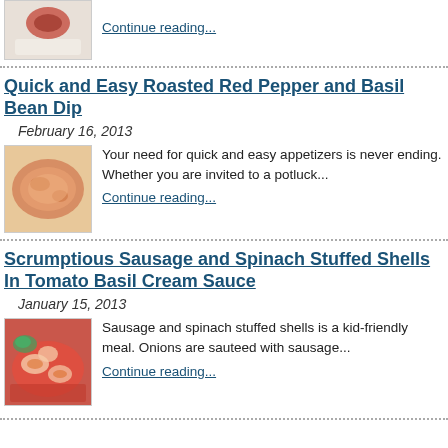[Figure (photo): Food photo thumbnail at top, partially visible]
Continue reading...
Quick and Easy Roasted Red Pepper and Basil Bean Dip
February 16, 2013
[Figure (photo): Orange/salmon colored bean dip in a bowl]
Your need for quick and easy appetizers is never ending.  Whether you are invited to a potluck...
Continue reading...
Scrumptious Sausage and Spinach Stuffed Shells In Tomato Basil Cream Sauce
January 15, 2013
[Figure (photo): Stuffed shells in red tomato sauce]
Sausage and spinach stuffed shells is a kid-friendly meal.  Onions are sauteed with sausage...
Continue reading...
partial text cut off at bottom